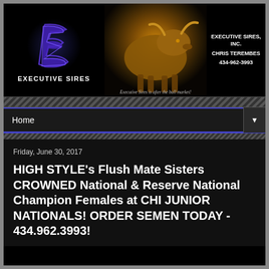[Figure (logo): Executive Sires company logo with stylized blue E letter and bull photo, contact info: EXECUTIVE SIRES, INC. CHRIS TEREMBES 434-962-3993]
Home
Friday, June 30, 2017
HIGH STYLE's Flush Mate Sisters CROWNED National & Reserve National Champion Females at CHI JUNIOR NATIONALS! ORDER SEMEN TODAY - 434.962.3993!